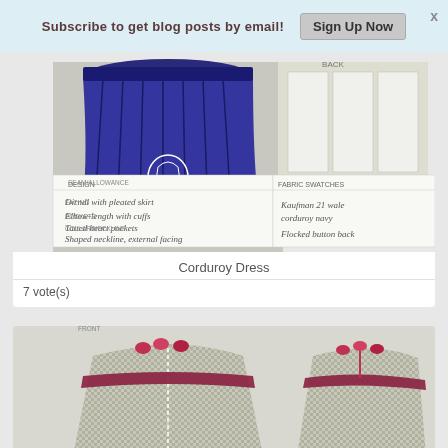Subscribe to get blog posts by email! Sign Up Now
[Figure (illustration): Sketch of a corduroy dress design — blue pleated skirt with emblem, back view showing pleats labeled BACK, and a design card with handwritten notes about fabric swatches including Kaufman 21 wale corduroy navy and flocked button back]
Corduroy Dress
7 vote(s)
[Figure (illustration): Sketch of a second dress design — front view of a gingham/houndstooth patterned dress with pink/red floral accents at neckline and hem, and back view showing zipper closure, also with floral trim]